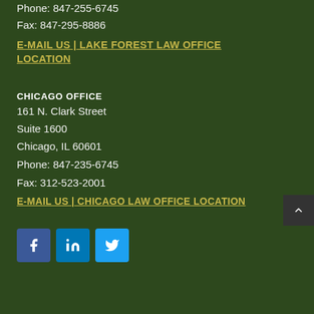Phone: 847-255-6745
Fax: 847-295-8886
E-MAIL US | LAKE FOREST LAW OFFICE LOCATION
CHICAGO OFFICE
161 N. Clark Street
Suite 1600
Chicago, IL 60601
Phone: 847-235-6745
Fax: 312-523-2001
E-MAIL US | CHICAGO LAW OFFICE LOCATION
[Figure (other): Social media icons: Facebook, LinkedIn, Twitter]